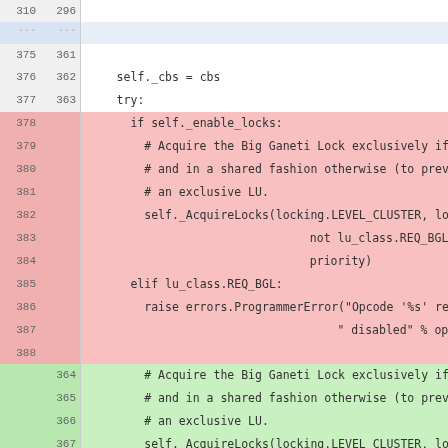[Figure (screenshot): Code diff view showing Python code with line numbers on both sides. Deleted lines (red background) show old code with if/elif block for lock acquisition. Added lines (green background) show new code. Lines 310/296 at top, then lines 375-391 visible.]